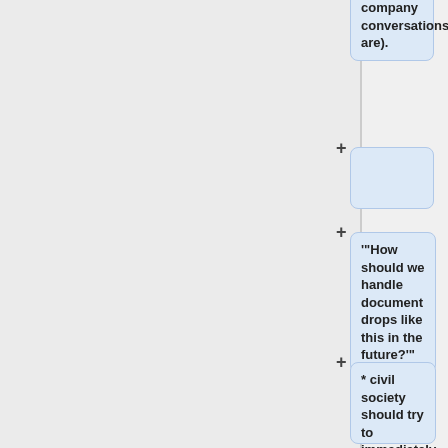company conversations are).
+
'"How should we handle document drops like this in the future?"'
+ * civil society should try to immediately convene meetings to discuss how to respond.
+ * If it happened today dkg would probably reach out via